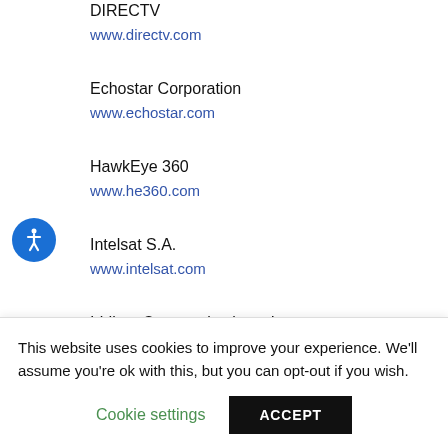DIRECTV
www.directv.com
Echostar Corporation
www.echostar.com
HawkEye 360
www.he360.com
Intelsat S.A.
www.intelsat.com
Iridium Communications, Inc.
www.iridium.com
This website uses cookies to improve your experience. We'll assume you're ok with this, but you can opt-out if you wish.
Cookie settings
ACCEPT